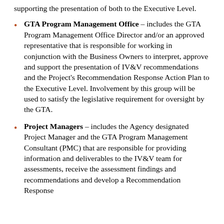supporting the presentation of both to the Executive Level.
GTA Program Management Office – includes the GTA Program Management Office Director and/or an approved representative that is responsible for working in conjunction with the Business Owners to interpret, approve and support the presentation of IV&V recommendations and the Project's Recommendation Response Action Plan to the Executive Level. Involvement by this group will be used to satisfy the legislative requirement for oversight by the GTA.
Project Managers – includes the Agency designated Project Manager and the GTA Program Management Consultant (PMC) that are responsible for providing information and deliverables to the IV&V team for assessments, receive the assessment findings and recommendations and develop a Recommendation Response